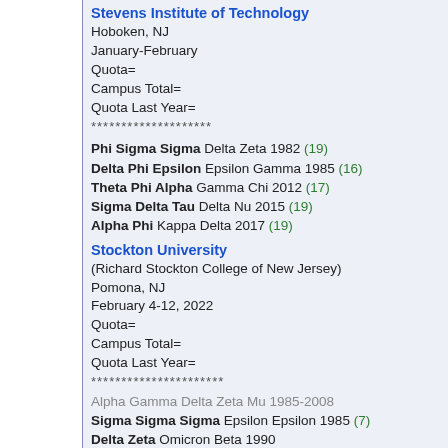Stevens Institute of Technology
Hoboken, NJ
January-February
Quota=
Campus Total=
Quota Last Year=
********************
Phi Sigma Sigma Delta Zeta 1982 (19)
Delta Phi Epsilon Epsilon Gamma 1985 (16)
Theta Phi Alpha Gamma Chi 2012 (17)
Sigma Delta Tau Delta Nu 2015 (19)
Alpha Phi Kappa Delta 2017 (19)
Stockton University
(Richard Stockton College of New Jersey)
Pomona, NJ
February 4-12, 2022
Quota=
Campus Total=
Quota Last Year=
**********************
Alpha Gamma Delta Zeta Mu 1985-2008
Sigma Sigma Sigma Epsilon Epsilon 1985 (7)
Delta Zeta Omicron Beta 1990
Delta Phi Epsilon Alpha Theta 1990-1990/2015
Zeta Tau Alpha Kappa Xi 2000 (15)
Delta Delta Delta Gamma Omega 2003
Sigma Delta Tau Delta Pi 2019
University of Newark